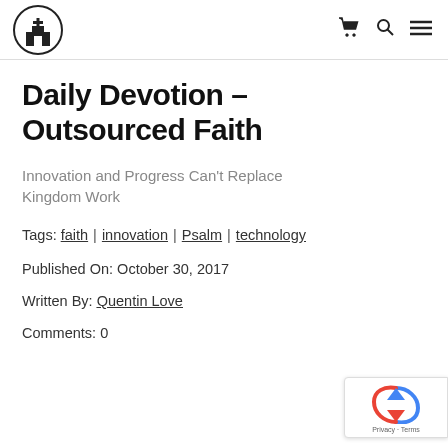[Church logo] [cart icon] [search icon] [menu icon]
Daily Devotion – Outsourced Faith
Innovation and Progress Can't Replace Kingdom Work
Tags: faith | innovation | Psalm | technology
Published On: October 30, 2017
Written By: Quentin Love
Comments: 0